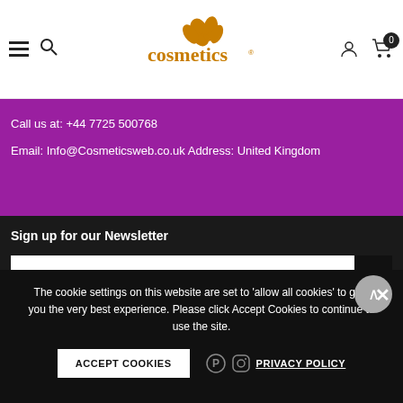[Figure (screenshot): Cosmetics Web website header with hamburger menu, search icon, logo with golden butterflies, user icon and cart icon showing 0 items]
Call us at: +44 7725 500768
Email: Info@Cosmeticsweb.co.uk Address: United Kingdom
Sign up for our Newsletter
Your email address
©... Cosmetics Web. All Right Reserved
The cookie settings on this website are set to 'allow all cookies' to give you the very best experience. Please click Accept Cookies to continue to use the site.
ACCEPT COOKIES
PRIVACY POLICY